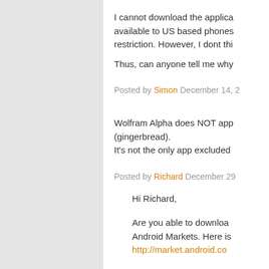I cannot download the applica... available to US based phones... restriction. However, I dont thi...
Thus, can anyone tell me why...
Posted by Simon December 14, ...
Wolfram Alpha does NOT app... (gingerbread).
It's not the only app excluded ...
Posted by Richard December 29...
Hi Richard,
Are you able to downloa... Android Markets. Here is...
http://market.android.co...
If you are in a market wh...